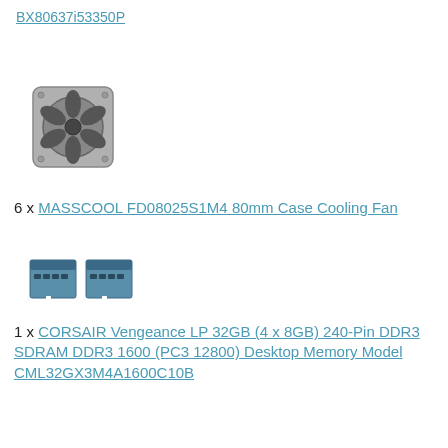BX80637i53350P
[Figure (photo): Small black PC case cooling fan]
6 x MASSCOOL FD08025S1M4 80mm Case Cooling Fan
[Figure (photo): Two blue DDR3 RAM memory sticks]
1 x CORSAIR Vengeance LP 32GB (4 x 8GB) 240-Pin DDR3 SDRAM DDR3 1600 (PC3 12800) Desktop Memory Model CML32GX3M4A1600C10B
[Figure (photo): Red and black multi-lane SFF-8087 serial ATA cable]
6 x 3ware CBL-SFF8087-06M 1 unit of 0.6m Multi-lane Internal (SFF-8087) Serial ATA cable